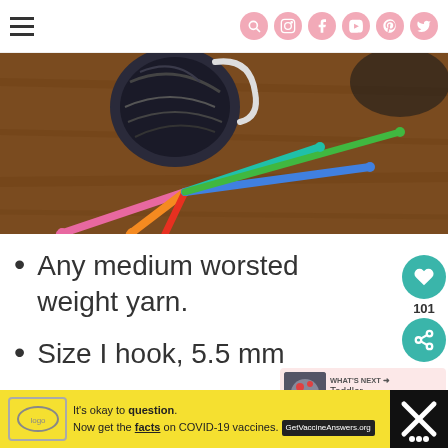Navigation header with hamburger menu and social icons (search, Instagram, Facebook, YouTube, Pinterest, Twitter)
[Figure (photo): Colorful crochet hooks fanned out on a wooden surface next to a ball of dark yarn]
Any medium worsted weight yarn.
Size I hook, 5.5 mm
Blunt needle
101
WHAT'S NEXT → Toddler Crochet...
It's okay to question. Now get the facts on COVID-19 vaccines. GetVaccineAnswers.org